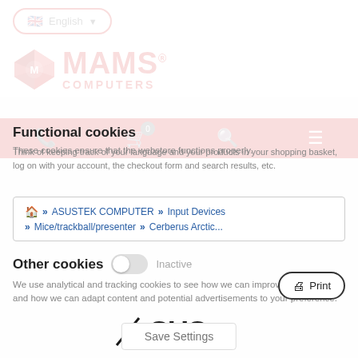[Figure (screenshot): MAMS Computers webstore screenshot with cookie consent overlay. Shows language selector (English), MAMS Computers logo, red navigation bar with phone/cart/search/menu icons, breadcrumb navigation (Home > ASUSTEK COMPUTER > Input Devices > Mice/trackball/presenter > Cerberus Arctic...), cookie overlay with Functional cookies (Active toggle) and Other cookies (Inactive toggle), Print button, ASUS logo, and Save Settings button.]